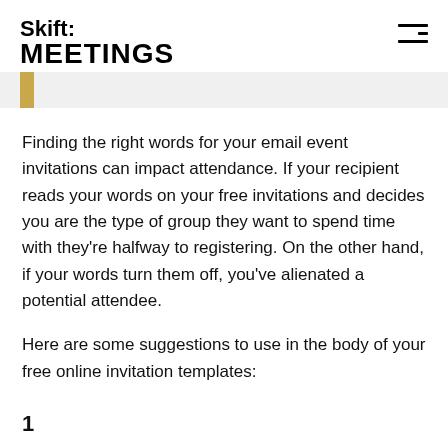Skift MEETINGS
Finding the right words for your email event invitations can impact attendance. If your recipient reads your words on your free invitations and decides you are the type of group they want to spend time with they’re halfway to registering. On the other hand, if your words turn them off, you’ve alienated a potential attendee.
Here are some suggestions to use in the body of your free online invitation templates:
1